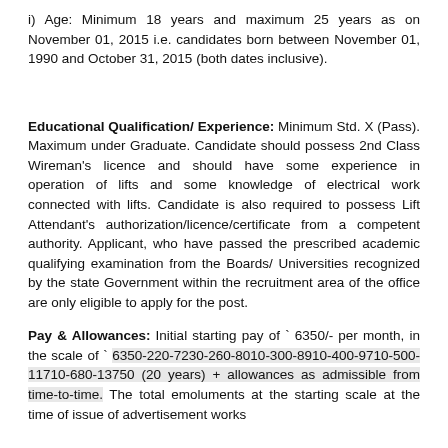i) Age: Minimum 18 years and maximum 25 years as on November 01, 2015 i.e. candidates born between November 01, 1990 and October 31, 2015 (both dates inclusive).
Educational Qualification/ Experience: Minimum Std. X (Pass). Maximum under Graduate. Candidate should possess 2nd Class Wireman's licence and should have some experience in operation of lifts and some knowledge of electrical work connected with lifts. Candidate is also required to possess Lift Attendant's authorization/licence/certificate from a competent authority. Applicant, who have passed the prescribed academic qualifying examination from the Boards/ Universities recognized by the state Government within the recruitment area of the office are only eligible to apply for the post.
Pay & Allowances: Initial starting pay of ` 6350/- per month, in the scale of ` 6350-220-7230-260-8010-300-8910-400-9710-500-11710-680-13750 (20 years) + allowances as admissible from time-to-time. The total emoluments at the starting scale at the time of issue of advertisement works